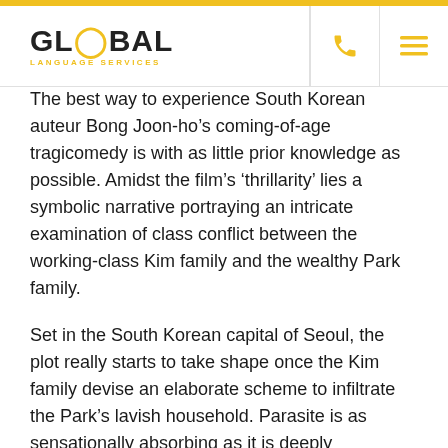GLOBAL LANGUAGE SERVICES
The best way to experience South Korean auteur Bong Joon-ho’s coming-of-age tragicomedy is with as little prior knowledge as possible. Amidst the film’s ‘thrillarity’ lies a symbolic narrative portraying an intricate examination of class conflict between the working-class Kim family and the wealthy Park family.
Set in the South Korean capital of Seoul, the plot really starts to take shape once the Kim family devise an elaborate scheme to infiltrate the Park’s lavish household. Parasite is as sensationally absorbing as it is deeply melancholy. A true phenomenon that has been created to last the test of time.